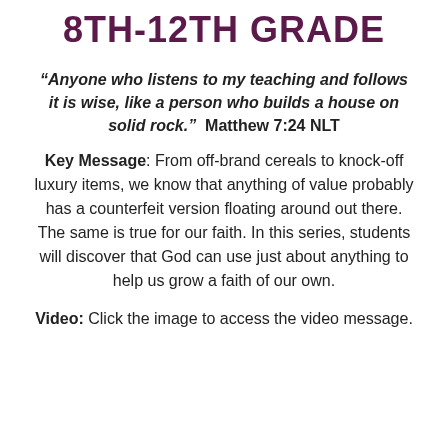8TH-12TH GRADE
“Anyone who listens to my teaching and follows it is wise, like a person who builds a house on solid rock.”  Matthew 7:24 NLT
Key Message: From off-brand cereals to knock-off luxury items, we know that anything of value probably has a counterfeit version floating around out there. The same is true for our faith. In this series, students will discover that God can use just about anything to help us grow a faith of our own.
Video: Click the image to access the video message.